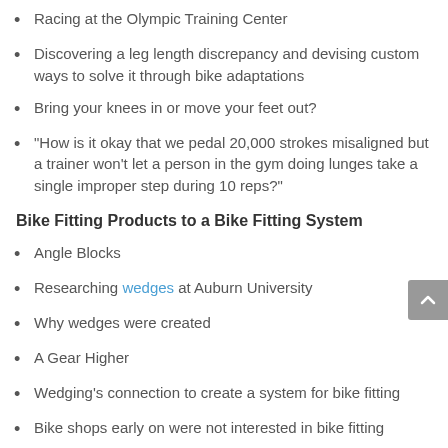Racing at the Olympic Training Center
Discovering a leg length discrepancy and devising custom ways to solve it through bike adaptations
Bring your knees in or move your feet out?
“How is it okay that we pedal 20,000 strokes misaligned but a trainer won’t let a person in the gym doing lunges take a single improper step during 10 reps?”
Bike Fitting Products to a Bike Fitting System
Angle Blocks
Researching wedges at Auburn University
Why wedges were created
A Gear Higher
Wedging’s connection to create a system for bike fitting
Bike shops early on were not interested in bike fitting
The Stroke Viewer — early knee tracking